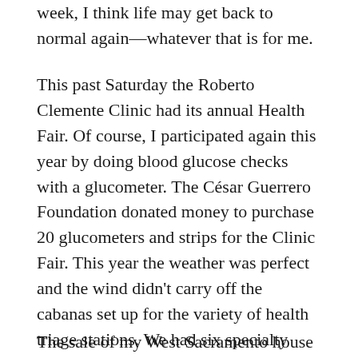week, I think life may get back to normal again—whatever that is for me.
This past Saturday the Roberto Clemente Clinic had its annual Health Fair. Of course, I participated again this year by doing blood glucose checks with a glucometer. The César Guerrero Foundation donated money to purchase 20 glucometers and strips for the Clinic Fair. This year the weather was perfect and the wind didn't carry off the cabanas set up for the variety of health triage stations. We had six specialty doctors and four internal med docs seeing patients for six hours. Another successful health fair for sure. My connection for the Clinic with the Guerrero Foundation will continue into the future.
The sale of my West Sacramento house was